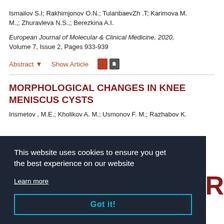Ismailov S.I; Rakhimjonov O.N.; TulanbaevZh .T; Karimova M. M.,; Zhuravleva N.S.,; Berezkina A.I.
European Journal of Molecular & Clinical Medicine, 2020, Volume 7, Issue 2, Pages 933-939
Abstract ▾    Show Article    [PDF icons]
MORPHOLOGICAL CHANGES IN KNEE MENISCUS CYSTS
Irismetov , M.E.; Kholikov A. M.; Usmonov F. M.; Razhabov K.
This website uses cookies to ensure you get the best experience on our website
Learn more
Got it!
OSTEOARTHRITIS OF THE KNEE